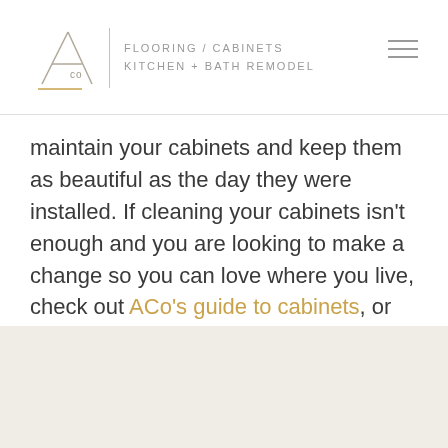ACo FLOORING / CABINETS KITCHEN + BATH REMODEL
maintain your cabinets and keep them as beautiful as the day they were installed. If cleaning your cabinets isn't enough and you are looking to make a change so you can love where you live, check out ACo's guide to cabinets, or connect with us for a complimentary design consultation.
Comments